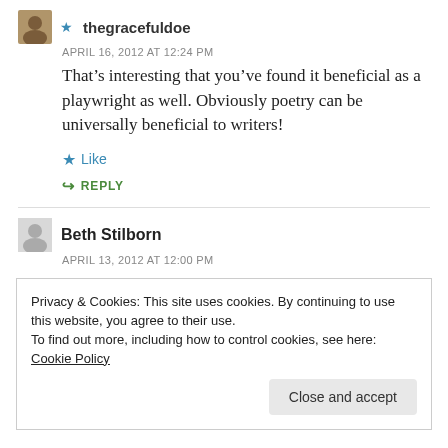★ thegracefuldoe
APRIL 16, 2012 AT 12:24 PM
That's interesting that you've found it beneficial as a playwright as well. Obviously poetry can be universally beneficial to writers!
★ Like
↳ REPLY
Beth Stilborn
APRIL 13, 2012 AT 12:00 PM
Privacy & Cookies: This site uses cookies. By continuing to use this website, you agree to their use.
To find out more, including how to control cookies, see here: Cookie Policy
Close and accept